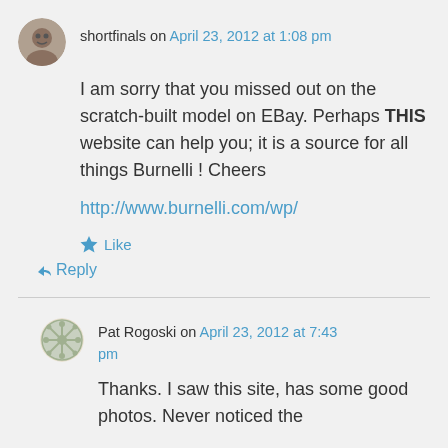shortfinals on April 23, 2012 at 1:08 pm
I am sorry that you missed out on the scratch-built model on EBay. Perhaps THIS website can help you; it is a source for all things Burnelli ! Cheers
http://www.burnelli.com/wp/
Like
Reply
Pat Rogoski on April 23, 2012 at 7:43 pm
Thanks. I saw this site, has some good photos. Never noticed the